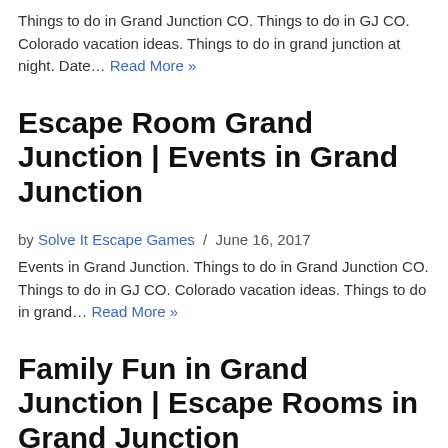Things to do in Grand Junction CO. Things to do in GJ CO. Colorado vacation ideas. Things to do in grand junction at night. Date… Read More »
Escape Room Grand Junction | Events in Grand Junction
by Solve It Escape Games / June 16, 2017
Events in Grand Junction. Things to do in Grand Junction CO. Things to do in GJ CO. Colorado vacation ideas. Things to do in grand… Read More »
Family Fun in Grand Junction | Escape Rooms in Grand Junction
by Solve It Escape Games / June 16, 2017